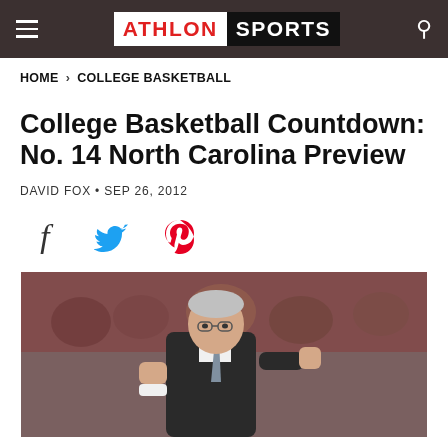ATHLON SPORTS
HOME > COLLEGE BASKETBALL
College Basketball Countdown: No. 14 North Carolina Preview
DAVID FOX • SEP 26, 2012
[Figure (other): Social sharing icons: Facebook, Twitter, Pinterest]
[Figure (photo): Coach gesturing on basketball court sideline, wearing dark suit and tie, crowd in background]